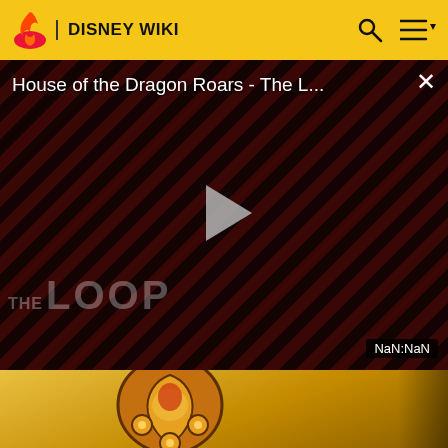DISNEY WIKI
[Figure (screenshot): Video player showing 'House of the Dragon Roars - The L...' with a play button, diagonal red striped background, dark silhouettes of figures, THE LOOP watermark, and NaN:NaN duration badge]
[Figure (screenshot): Thumbnail strip showing a Lion King style circular logo on a golden/yellow background]